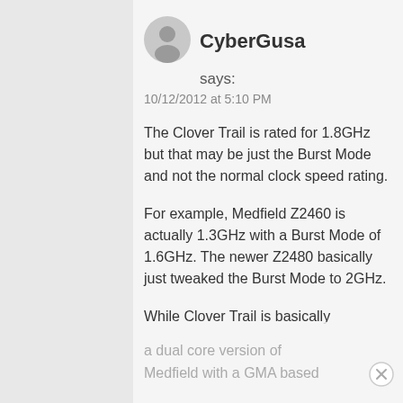[Figure (illustration): User avatar: gray silhouette of a person in a circle]
CyberGusa
says:
10/12/2012 at 5:10 PM
The Clover Trail is rated for 1.8GHz but that may be just the Burst Mode and not the normal clock speed rating.
For example, Medfield Z2460 is actually 1.3GHz with a Burst Mode of 1.6GHz. The newer Z2480 basically just tweaked the Burst Mode to 2GHz.
While Clover Trail is basically a dual core version of Medfield with a GMA based